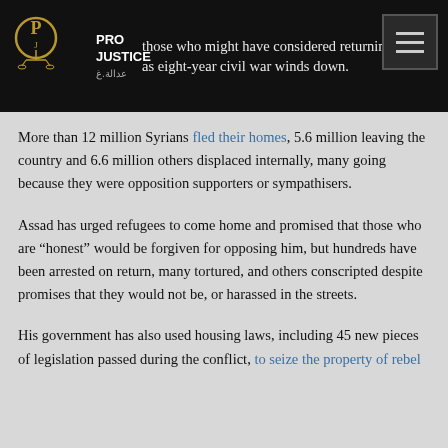those who might have considered returning home as eight-year civil war winds down.
More than 12 million Syrians fled their homes, 5.6 million leaving the country and 6.6 million others displaced internally, many going because they were opposition supporters or sympathisers.
Assad has urged refugees to come home and promised that those who are “honest” would be forgiven for opposing him, but hundreds have been arrested on return, many tortured, and others conscripted despite promises that they would not be, or harassed in the streets.
His government has also used housing laws, including 45 new pieces of legislation passed during the conflict, to seize the property of rebel